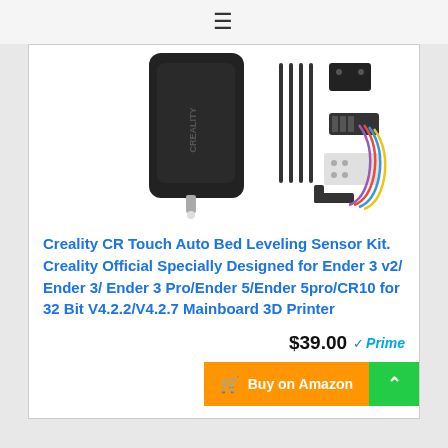≡
[Figure (photo): Creality CR Touch auto bed leveling sensor kit product photo showing the black sensor device and accessory components including mounting brackets, screws, and wiring cable]
Creality CR Touch Auto Bed Leveling Sensor Kit. Creality Official Specially Designed for Ender 3 v2/ Ender 3/ Ender 3 Pro/Ender 5/Ender 5pro/CR10 for 32 Bit V4.2.2/V4.2.7 Mainboard 3D Printer
$39.00 Prime
Buy on Amazon